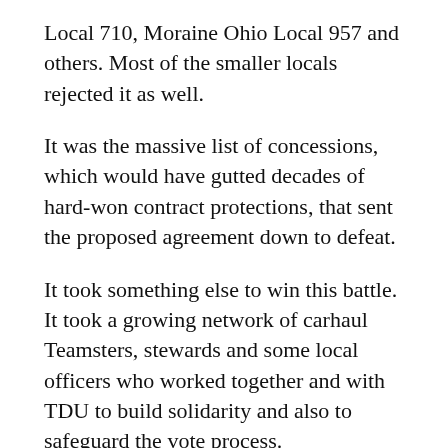Local 710, Moraine Ohio Local 957 and others. Most of the smaller locals rejected it as well.
It was the massive list of concessions, which would have gutted decades of hard-won contract protections, that sent the proposed agreement down to defeat.
It took something else to win this battle. It took a growing network of carhaul Teamsters, stewards and some local officers who worked together and with TDU to build solidarity and also to safeguard the vote process.
The time is now for the International Union to listen to the rank and file and make some